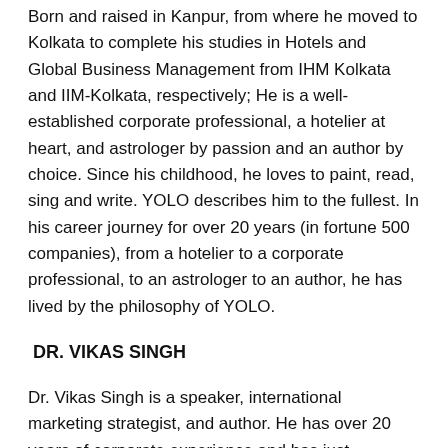Born and raised in Kanpur, from where he moved to Kolkata to complete his studies in Hotels and Global Business Management from IHM Kolkata and IIM-Kolkata, respectively; He is a well-established corporate professional, a hotelier at heart, and astrologer by passion and an author by choice. Since his childhood, he loves to paint, read, sing and write. YOLO describes him to the fullest. In his career journey for over 20 years (in fortune 500 companies), from a hotelier to a corporate professional, to an astrologer to an author, he has lived by the philosophy of YOLO.
DR. VIKAS SINGH
Dr. Vikas Singh is a speaker, international marketing strategist, and author. He has over 20 years of corporate experience and has just launched his first book “ Return Ticket ”. He firmly believes that whether life or business, there is a definite process for success. He adds that ancient